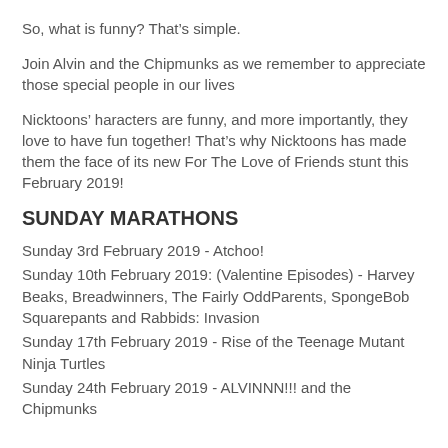So, what is funny? That's simple.
Join Alvin and the Chipmunks as we remember to appreciate those special people in our lives
Nicktoons' haracters are funny, and more importantly, they love to have fun together! That's why Nicktoons has made them the face of its new For The Love of Friends stunt this February 2019!
SUNDAY MARATHONS
Sunday 3rd February 2019 - Atchoo!
Sunday 10th February 2019: (Valentine Episodes) - Harvey Beaks, Breadwinners, The Fairly OddParents, SpongeBob Squarepants and Rabbids: Invasion
Sunday 17th February 2019 - Rise of the Teenage Mutant Ninja Turtles
Sunday 24th February 2019 - ALVINNN!!! and the Chipmunks